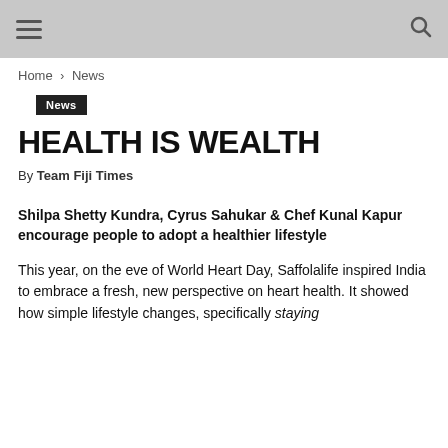Home › News
News
HEALTH IS WEALTH
By Team Fiji Times
Shilpa Shetty Kundra, Cyrus Sahukar & Chef Kunal Kapur encourage people to adopt a healthier lifestyle
This year, on the eve of World Heart Day, Saffolalife inspired India to embrace a fresh, new perspective on heart health. It showed how simple lifestyle changes, specifically staying